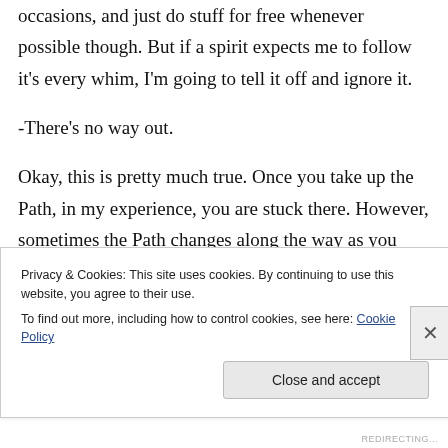occasions, and just do stuff for free whenever possible though. But if a spirit expects me to follow it's every whim, I'm going to tell it off and ignore it.
-There's no way out.
Okay, this is pretty much true. Once you take up the Path, in my experience, you are stuck there. However, sometimes the Path changes along the way as you change. If you are genuinely unhappy with the way your shamanism is going,
Privacy & Cookies: This site uses cookies. By continuing to use this website, you agree to their use.
To find out more, including how to control cookies, see here: Cookie Policy
Close and accept
REDIRECTING...